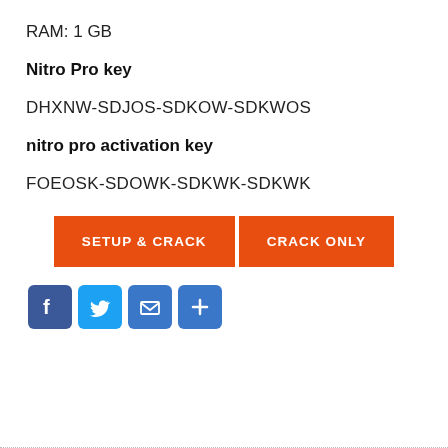RAM: 1 GB
Nitro Pro key
DHXNW-SDJOS-SDKOW-SDKWOS
nitro pro activation key
FOEOSK-SDOWK-SDKWK-SDKWK
[Figure (other): Two orange call-to-action buttons: SETUP & CRACK and CRACK ONLY]
[Figure (other): Social share icons: Facebook, Twitter, Email, Plus/Share]